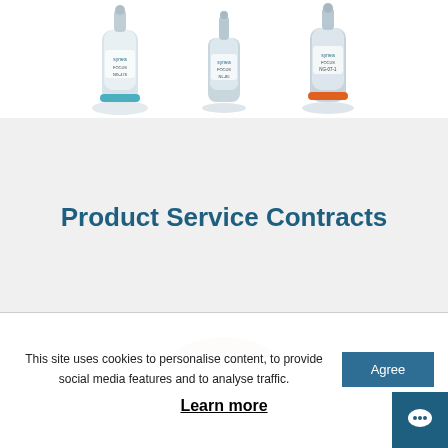[Figure (photo): Three Synea medical/dental product devices shown from above, partially cropped at the top of the page — two lighter grey ones and one with an orange ring]
Product Service Contracts
[Figure (photo): Bottom portion of a round donut-shaped product, tan/brown colored, partially visible]
This site uses cookies to personalise content, to provide social media features and to analyse traffic.
Agree
Learn more
[Figure (illustration): Chat bubble icon in white on dark teal square background, bottom right corner]